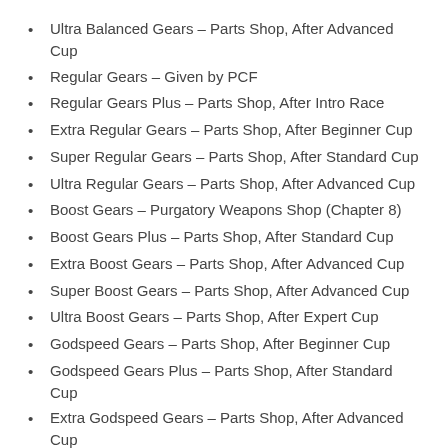Ultra Balanced Gears – Parts Shop, After Advanced Cup
Regular Gears – Given by PCF
Regular Gears Plus – Parts Shop, After Intro Race
Extra Regular Gears – Parts Shop, After Beginner Cup
Super Regular Gears – Parts Shop, After Standard Cup
Ultra Regular Gears – Parts Shop, After Advanced Cup
Boost Gears – Purgatory Weapons Shop (Chapter 8)
Boost Gears Plus – Parts Shop, After Standard Cup
Extra Boost Gears – Parts Shop, After Advanced Cup
Super Boost Gears – Parts Shop, After Advanced Cup
Ultra Boost Gears – Parts Shop, After Expert Cup
Godspeed Gears – Parts Shop, After Beginner Cup
Godspeed Gears Plus – Parts Shop, After Standard Cup
Extra Godspeed Gears – Parts Shop, After Advanced Cup
Super Godspeed Gears – Parts Shop, After Advanced Cup
Ultra Godspeed Gears – Parts Shop, After Expert Cup
Components – Bumper